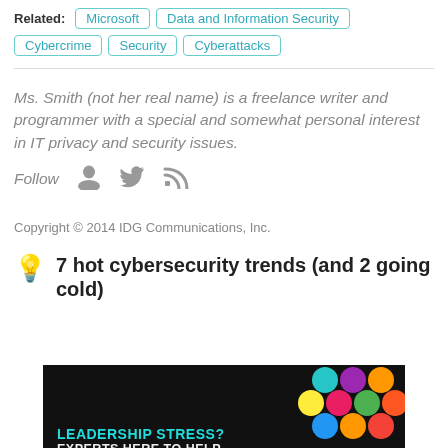Related: Microsoft  Data and Information Security  Cybercrime  Security  Cyberattacks
Ms. Smith (not her real name) is a freelance writer and programmer with a special and somewhat personal interest in IT privacy and security issues.
Follow
Copyright © 2014 IDG Communications, Inc.
7 hot cybersecurity trends (and 2 going cold)
[Figure (photo): Advertisement banner with dark background, colorful dots pattern, text reading LEADERSHIP STRESS? EXPERTS HERE TO HELP]